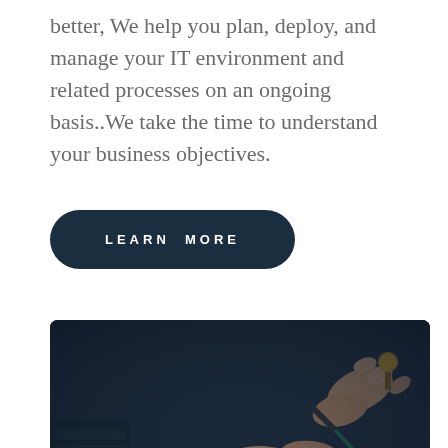better, We help you plan, deploy, and manage your IT environment and related processes on an ongoing basis..We take the time to understand your business objectives.
LEARN MORE
[Figure (photo): A person's hands working on computer hardware, installing or removing a component (RAM module or similar) from a laptop motherboard, with a dark blue tinted overlay on the image.]